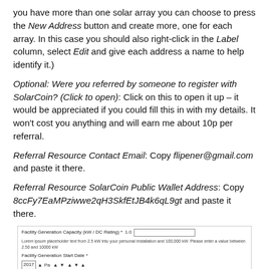you have more than one solar array you can choose to press the New Address button and create more, one for each array. In this case you should also right-click in the Label column, select Edit and give each address a name to help identify it.)
Optional: Were you referred by someone to register with SolarCoin? (Click to open): Click on this to open it up – it would be appreciated if you could fill this in with my details. It won't cost you anything and will earn me about 10p per referral.
Referral Resource Contact Email: Copy flipener@gmail.com and paste it there.
Referral Resource SolarCoin Public Wallet Address: Copy 8ccFy7EaMPziwwe2qH3SkfEtJB4k6qL9gt and paste it there.
[Figure (screenshot): Screenshot of a form with fields: Facility Generation Capacity (kW / DC Rating) with an input box, hint text below, Facility Generation Start Date with dropdowns showing 2017, Pa, and arrow controls, and a Once complete link.]